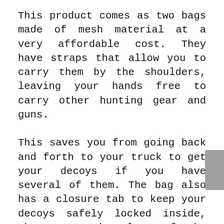This product comes as two bags made of mesh material at a very affordable cost. They have straps that allow you to carry them by the shoulders, leaving your hands free to carry other hunting gear and guns.
This saves you from going back and forth to your truck to get your decoys if you have several of them. The bag also has a closure tab to keep your decoys safely locked inside, thus preventing loss of the decoys while in transit as they cannot fall off.
They can accommodate up to 6 turkey decoys; this is, however, determined by the decoy size and style. Also, you can fold the bags when they are empty and conceal them inside your blind as they have a sleek